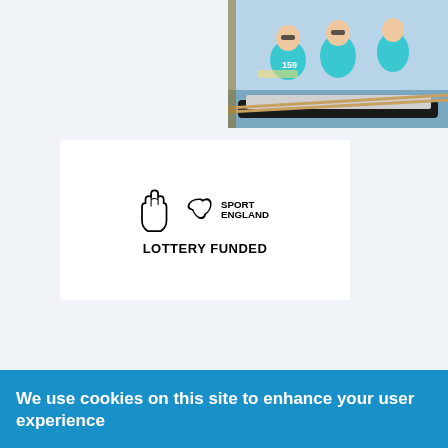[Figure (photo): Rowers in blue/teal t-shirts sitting in a rowing boat at a dock, sunny day]
[Figure (logo): Sport England Lottery Funded logo - crossed fingers National Lottery logo alongside Sport England logo with 'LOTTERY FUNDED' text below]
We use cookies on this site to enhance your user experience